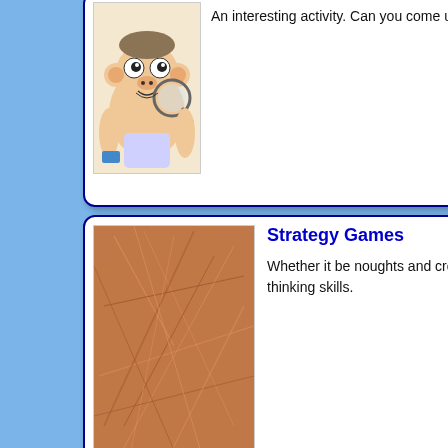[Figure (illustration): Cartoon monkey with magnifying glass, partially visible at top]
An interesting activity. Can you come up with a good strategy because we have not been able to?
[Figure (illustration): Orange/red card with colorful text partially visible on right side]
Strategy Games
Whether it be noughts and crosses or Nim, playing games can be fun while improving your thinking skills.
[Figure (illustration): Brown scratched texture thumbnail for Strategy Games]
[Figure (illustration): Yellow card with 'I am / Who is' text partially visible on right]
Maths Jokes
Brighten up your Maths lesson with this collections of mathematical jokes. Let us know if we've missed out your favourite.
[Figure (illustration): Smiley face emoji yellow circle]
[Figure (illustration): Grid/matchstick puzzle partially visible on right side]
Snowflakes
A calming, relaxing and
[Figure (illustration): Colored block pyramid thumbnail for Snowflakes]
[Figure (photo): Monkey image partially visible on right side bottom]